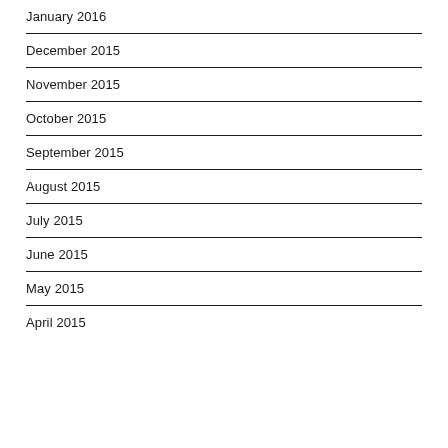January 2016
December 2015
November 2015
October 2015
September 2015
August 2015
July 2015
June 2015
May 2015
April 2015